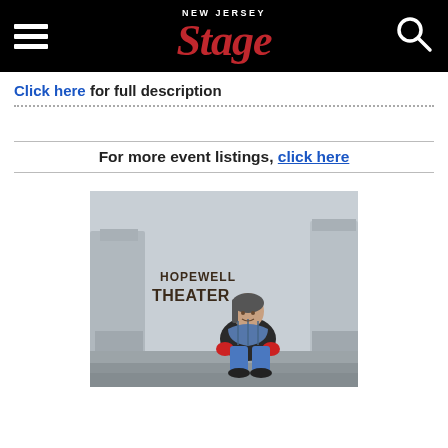New Jersey Stage — hamburger menu, logo, search icon
Click here for full description
For more event listings, click here
[Figure (photo): Woman sitting on stone steps in front of Hopewell Theater building, wearing a dark jacket, blue plaid scarf, and red gloves, with stone columns and the words HOPEWELL THEATER visible in the background.]